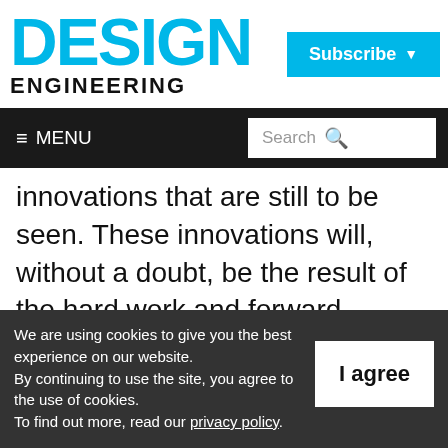[Figure (logo): Design Engineering magazine logo with 'DESIGN' in large cyan/blue bold text and 'ENGINEERING' in smaller black bold text below]
[Figure (other): Subscribe button in cyan blue with white text and dropdown arrow]
≡ MENU  |  Search
innovations that are still to be seen. These innovations will, without a doubt, be the result of the hard work and forward thinking of the brilliant men and women currently working in the industry, and who are quite possibly from the next generation who are still within
We are using cookies to give you the best experience on our website.
By continuing to use the site, you agree to the use of cookies.
To find out more, read our privacy policy.